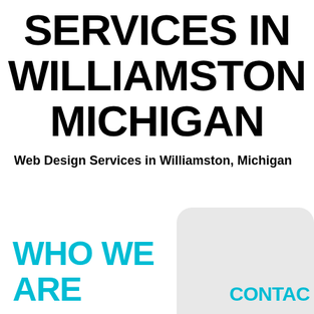SERVICES IN WILLIAMSTON MICHIGAN
Web Design Services in Williamston, Michigan
WHO WE ARE
CONTAC